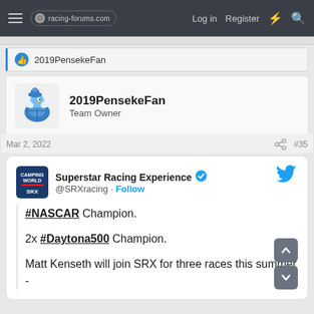racing-forums.com — Log in   Register
2019PensekeFan
2019PensekeFan
Team Owner
Mar 2, 2022   #35
[Figure (screenshot): Embedded tweet from @SRXracing (Superstar Racing Experience) with verified badge. Tweet text: '#NASCAR Champion. 2x #Daytona500 Champion. Matt Kenseth will join SRX for three races this summer -']
#NASCAR Champion. 2x #Daytona500 Champion. Matt Kenseth will join SRX for three races this summer -